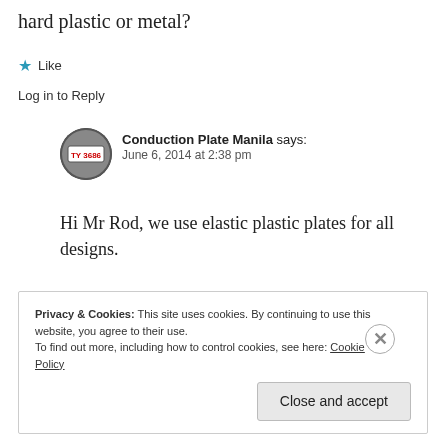hard plastic or metal?
★ Like
Log in to Reply
Conduction Plate Manila says: June 6, 2014 at 2:38 pm
Hi Mr Rod, we use elastic plastic plates for all designs.
★ Like
Log in to Reply
Privacy & Cookies: This site uses cookies. By continuing to use this website, you agree to their use. To find out more, including how to control cookies, see here: Cookie Policy
Close and accept